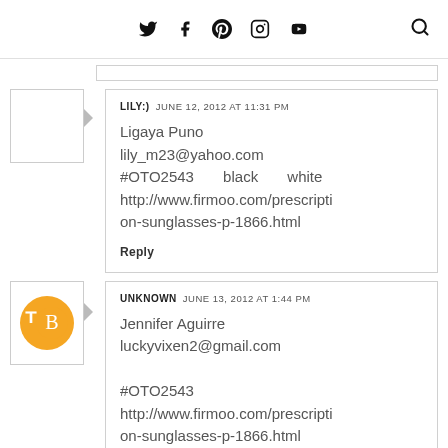Social media icons: Twitter, Facebook, Pinterest, Instagram, YouTube, Search
LILY:)  JUNE 12, 2012 AT 11:31 PM
Ligaya Puno
lily_m23@yahoo.com
#OTO2543   black   white
http://www.firmoo.com/prescription-sunglasses-p-1866.html
Reply
UNKNOWN  JUNE 13, 2012 AT 1:44 PM
Jennifer Aguirre
luckyvixen2@gmail.com

#OTO2543
http://www.firmoo.com/prescription-sunglasses-p-1866.html